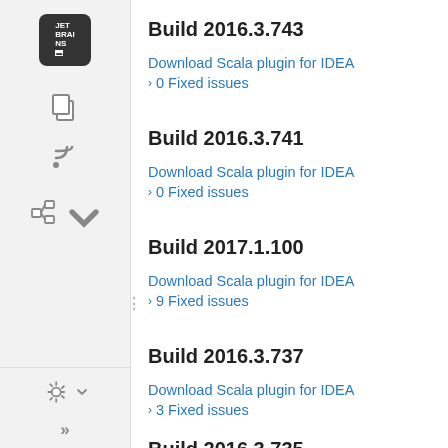Build 2016.3.743
Download Scala plugin for IDEA
0 Fixed issues
Build 2016.3.741
Download Scala plugin for IDEA
0 Fixed issues
Build 2017.1.100
Download Scala plugin for IDEA
9 Fixed issues
Build 2016.3.737
Download Scala plugin for IDEA
3 Fixed issues
Build 2016.3.735